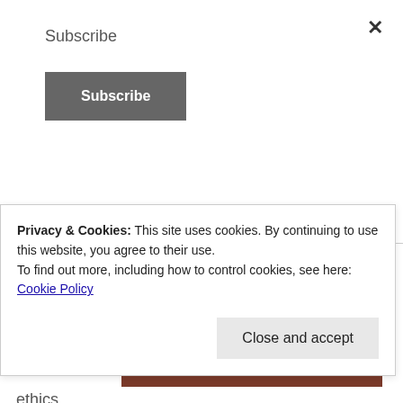Subscribe
Subscribe
ca no longer teaching morals and ethics
[Figure (photo): Two people in black athletic uniforms sitting back-to-back on a dark surface, posed in a crouching position.]
Privacy & Cookies: This site uses cookies. By continuing to use this website, you agree to their use.
To find out more, including how to control cookies, see here: Cookie Policy
Close and accept